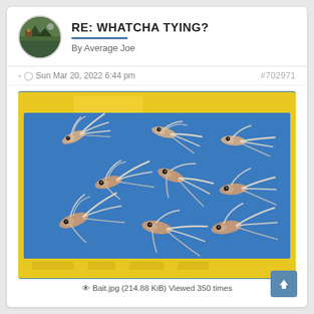RE: WHATCHA TYING?
By Average Joe
- Sun Mar 20, 2022 6:44 pm   #702971
[Figure (photo): Multiple fly fishing lures (flies) arranged in a yellow plastic tackle box with a blue interior. The flies appear to be white/cream bucktail or feather streamers with dark bead eyes.]
Bait.jpg (214.88 KiB) Viewed 350 times